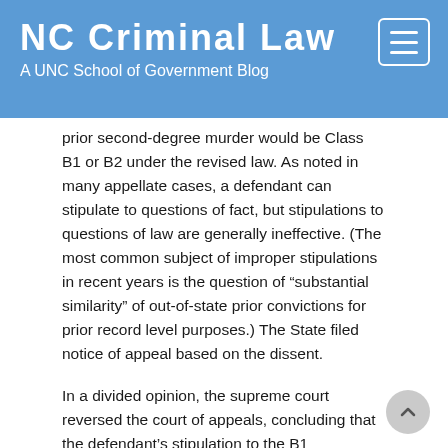NC Criminal Law
A UNC School of Government Blog
prior second-degree murder would be Class B1 or B2 under the revised law. As noted in many appellate cases, a defendant can stipulate to questions of fact, but stipulations to questions of law are generally ineffective. (The most common subject of improper stipulations in recent years is the question of “substantial similarity” of out-of-state prior convictions for prior record level purposes.) The State filed notice of appeal based on the dissent.
In a divided opinion, the supreme court reversed the court of appeals, concluding that the defendant’s stipulation to the B1 classification was valid. While the ultimate classification of a prior conviction is a legal determination, that classification is, the court reasoned, “fact driven.” Slip op. at 5. The defendant’s stipulation was an admission that certain past conduct constituted a criminal offense. And by stipulating to the record, the defendant...